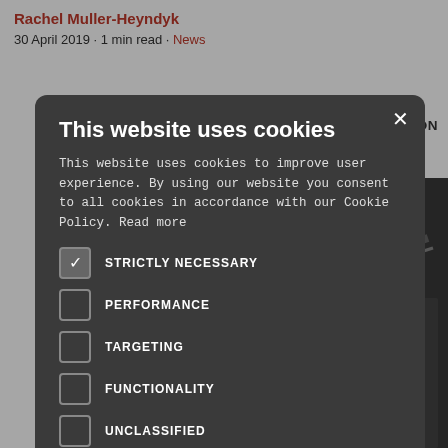Rachel Muller-Heyndyk
30 April 2019 · 1 min read · News
CRIMINATION
on
[Figure (screenshot): Cookie consent modal dialog on a news website. Title: 'This website uses cookies'. Body text explains cookie usage. Five checkboxes: STRICTLY NECESSARY (checked), PERFORMANCE (unchecked), TARGETING (unchecked), FUNCTIONALITY (unchecked), UNCLASSIFIED (unchecked). Two buttons: ACCEPT ALL (green), DECLINE ALL (outlined). SHOW DETAILS link with gear icon at bottom.]